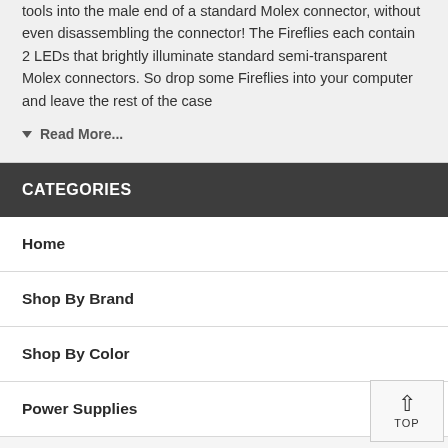tools into the male end of a standard Molex connector, without even disassembling the connector! The Fireflies each contain 2 LEDs that brightly illuminate standard semi-transparent Molex connectors. So drop some Fireflies into your computer and leave the rest of the case
▾ Read More...
CATEGORIES
Home
Shop By Brand
Shop By Color
Power Supplies